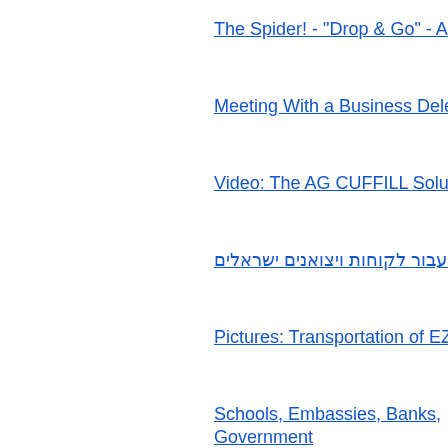The Spider! - "Drop & Go" - Advanced Wa…
Meeting With a Business Delegation from…
Video: The AG CUFFILL Solution - Accura…
כפיתוח עסקי עבור לקוחות ויצואנים ישראלים
Pictures: Transportation of EZpack's Larg…
Schools, Embassies, Banks, Government… Resistant Doors by RB Doors
Case Study: How We Help Israeli Exporte…
MIDO 2016 - Soflex Will Be Launching U… Irregular Cornea Patients
Hospitech Has Received the FDA's 510(k…
Coming Soon - GIGI's MesoActive Clinica…
Pictures: Ofertex at Ambiente 2016
CelloTrack Nano - NOW There's a Better…
MIDO 2016 - Soflex Will Be Launching U… Irregular Cornea Patients